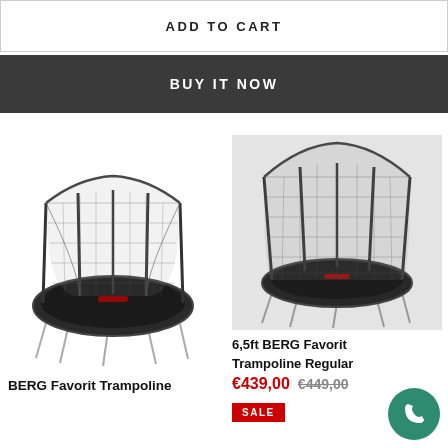ADD TO CART
BUY IT NOW
[Figure (photo): BERG Favorit Trampoline with safety net enclosure, oval shape, dark color, photographed from front]
BERG Favorit Trampoline
[Figure (photo): 6.5ft BERG Favorit Trampoline Regular with safety net enclosure, round shape, dark color, shown on a light background]
6,5ft BERG Favorit Trampoline Regular
€439,00  €449,00
SALE